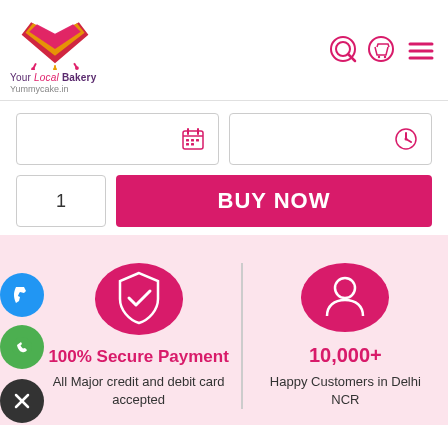[Figure (logo): Your Local Bakery - Yummycake.in logo with layered heart cake shape in pink, gold, and red colors]
Your Local Bakery
Yummycake.in
[Figure (infographic): Navigation icons: search, cart, hamburger menu in pink/crimson color]
[Figure (infographic): Date picker input field with calendar icon]
[Figure (infographic): Time picker input field with clock icon]
1
BUY NOW
[Figure (infographic): 100% Secure Payment icon - shield with checkmark on pink circle]
100% Secure Payment
All Major credit and debit card accepted
[Figure (infographic): 10,000+ Happy Customers icon - person silhouette on pink circle]
10,000+
Happy Customers in Delhi NCR